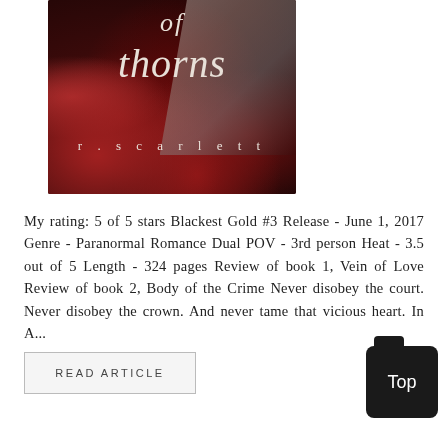[Figure (illustration): Book cover for a novel showing 'of thorns' by r. scarlett — dark red roses on a dark background with a partial face, text in italic serif font]
My rating: 5 of 5 stars Blackest Gold #3 Release - June 1, 2017 Genre - Paranormal Romance Dual POV - 3rd person Heat - 3.5 out of 5 Length - 324 pages Review of book 1, Vein of Love Review of book 2, Body of the Crime Never disobey the court. Never disobey the crown. And never tame that vicious heart. In A...
READ ARTICLE